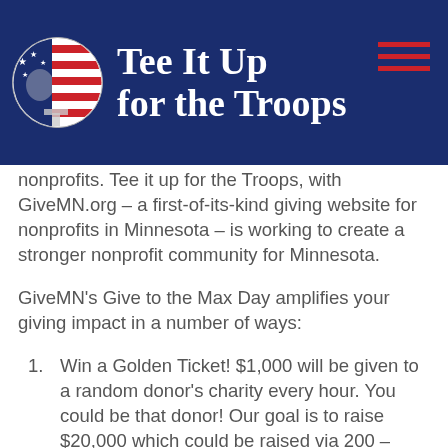[Figure (logo): Tee It Up for the Troops logo: dark navy blue banner with circular logo showing stars and stripes with a silhouette, text 'Tee It Up for the Troops' in white bold serif font, and a red hamburger menu icon on the right]
nonprofits. Tee it up for the Troops, with GiveMN.org – a first-of-its-kind giving website for nonprofits in Minnesota – is working to create a stronger nonprofit community for Minnesota.
GiveMN's Give to the Max Day amplifies your giving impact in a number of ways:
Win a Golden Ticket! $1,000 will be given to a random donor's charity every hour. You could be that donor! Our goal is to raise $20,000 which could be raised via 200 –